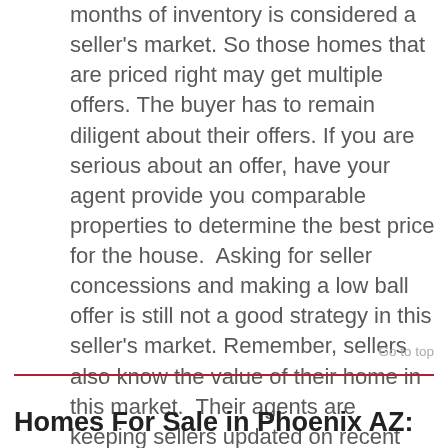months of inventory is considered a seller's market. So those homes that are priced right may get multiple offers. The buyer has to remain diligent about their offers. If you are serious about an offer, have your agent provide you comparable properties to determine the best price for the house.  Asking for seller concessions and making a low ball offer is still not a good strategy in this seller's market. Remember, sellers also know the value of their home in this market.  Their agents are keeping sellers updated on recent sales and homes similar to theirs as they come on the market.
Go to top
Homes For Sale in Phoenix AZ: